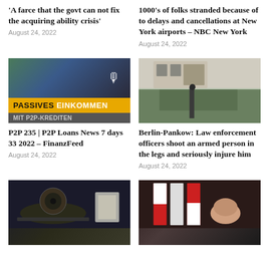'A farce that the govt can not fix the acquiring ability crisis'
August 24, 2022
1000's of folks stranded because of to delays and cancellations at New York airports - NBC New York
August 24, 2022
[Figure (photo): Promotional image for a podcast about passive income with P2P loans, showing a person in purple shirt with microphone icon overlay and yellow banner reading PASSIVES EINKOMMEN and MIT P2P-KREDITEN]
P2P 235 | P2P Loans News 7 days 33 2022 – FinanzFeed
August 24, 2022
[Figure (photo): Outdoor photo showing a building entrance with hedges, a person standing near the door, and birds on the ground]
Berlin-Pankow: Law enforcement officers shoot an armed person in the legs and seriously injure him
August 24, 2022
[Figure (photo): Dark image partially visible at bottom left, appears to show DJ equipment or technology]
[Figure (photo): Partially visible image at bottom right showing flags and a person]